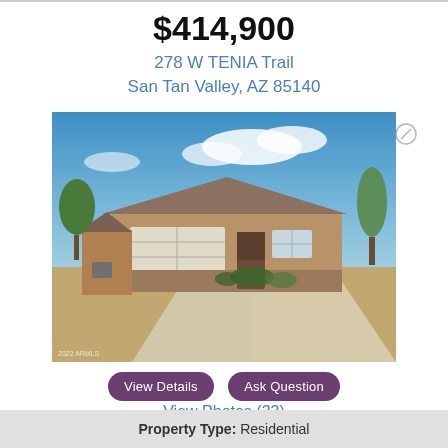$414,900
278 W TENIA Trail
San Tan Valley, AZ 85140
[Figure (photo): Exterior photo of a single-story residential home in San Tan Valley, AZ. The house has a tan/brown stucco exterior with stone accents, a two-car garage, desert landscaping, and a blue sky with clouds in the background.]
View Details   Ask Question
View Photos (33)
Property Type: Residential